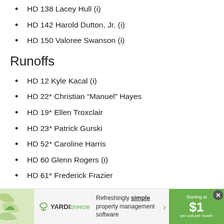HD 138 Lacey Hull (i)
HD 142 Harold Dutton, Jr. (i)
HD 150 Valoree Swanson (i)
Runoffs
HD 12 Kyle Kacal (i)
HD 22* Christian “Manuel” Hayes
HD 19* Ellen Troxclair
HD 23* Patrick Gurski
HD 52* Caroline Harris
HD 60 Glenn Rogers (i)
HD 61* Frederick Frazier
HD 70* Jamee Jolly
[Figure (infographic): Yardi Breeze advertisement banner: 'Refreshingly simple property management software. Starting at $1 per unit per month']